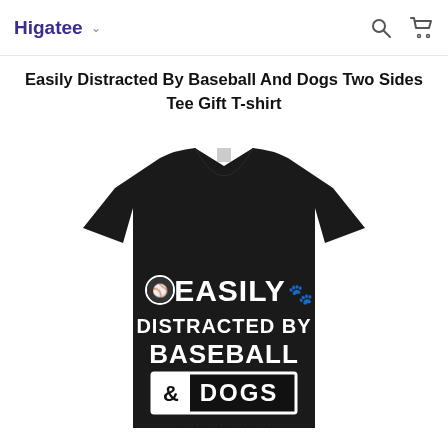Higatee
Easily Distracted By Baseball And Dogs Two Sides Tee Gift T-shirt
[Figure (photo): Black t-shirt with white graphic text reading 'EASILY DISTRACTED BY BASEBALL & DOGS' with baseball and paw print icons]